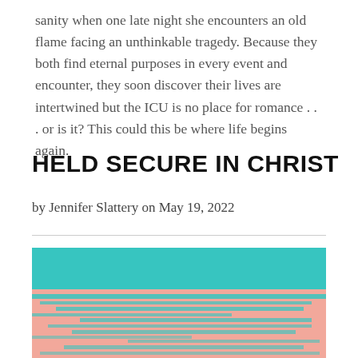sanity when one late night she encounters an old flame facing an unthinkable tragedy. Because they both find eternal purposes in every event and encounter, they soon discover their lives are intertwined but the ICU is no place for romance . . . or is it? This could this be where life begins again.
HELD SECURE IN CHRIST
by Jennifer Slattery on May 19, 2022
[Figure (illustration): Abstract illustration with teal/turquoise top section and pink lower section with brushstroke-style horizontal teal streaks across the pink area, partially cropped at bottom.]